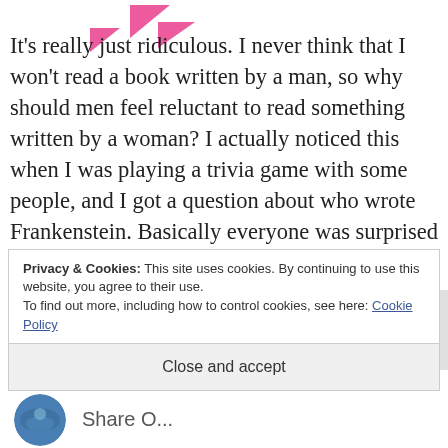[Figure (illustration): Pink decorative triangle/arrow shapes in top-left corner of the page]
It’s really just ridiculous. I never think that I won’t read a book written by a man, so why should men feel reluctant to read something written by a woman? I actually noticed this when I was playing a trivia game with some people, and I got a question about who wrote Frankenstein. Basically everyone was surprised that such
Privacy & Cookies: This site uses cookies. By continuing to use this website, you agree to their use.
To find out more, including how to control cookies, see here: Cookie Policy
Close and accept